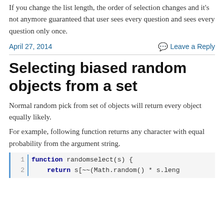If you change the list length, the order of selection changes and it's not anymore guaranteed that user sees every question and sees every question only once.
April 27, 2014   Leave a Reply
Selecting biased random objects from a set
Normal random pick from set of objects will return every object equally likely.
For example, following function returns any character with equal probability from the argument string.
1  function randomselect(s) {
2      return s[~~(Math.random() * s.leng